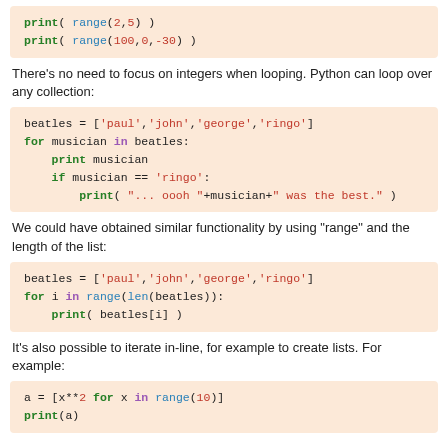[Figure (other): Code block showing print(range(2,5)) and print(range(100,0,-30))]
There's no need to focus on integers when looping. Python can loop over any collection:
[Figure (other): Code block showing beatles list and for loop with print and if musician == 'ringo' check]
We could have obtained similar functionality by using "range" and the length of the list:
[Figure (other): Code block showing beatles list and for i in range(len(beatles)) loop]
It's also possible to iterate in-line, for example to create lists. For example:
[Figure (other): Code block showing a = [x**2 for x in range(10)] and print(a)]